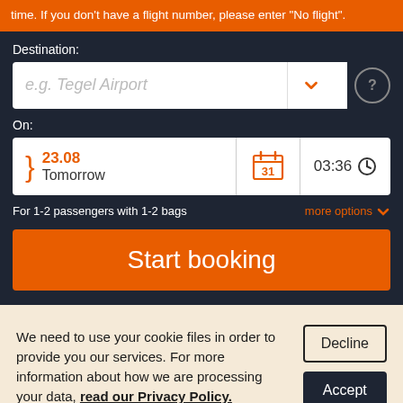time. If you don't have a flight number, please enter "No flight".
Destination:
e.g. Tegel Airport
On:
23.08 Tomorrow
03:36
For 1-2 passengers with 1-2 bags
more options
Start booking
We need to use your cookie files in order to provide you our services. For more information about how we are processing your data, read our Privacy Policy.